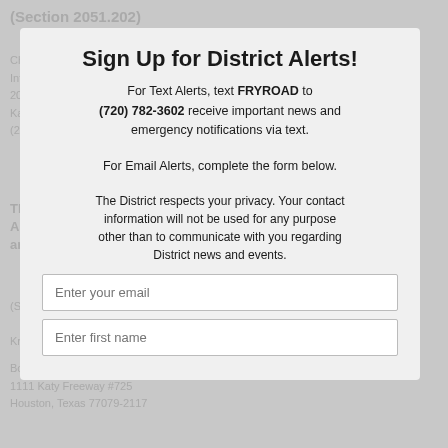(Section 2051.202)
Christopher Thomas
Inframark Water & Infrastructure Services
2002 W. Grand Parkway N, Suite 100
Katy, Texas 77449
(281) 375-9142
The Name of the Person Representing the Tax Assessor/Collector, Including Mailing Address and Telephone Number
(Section 2051.202)
Kristen Scott
Bob Leared Interests
1111 Katy Freeway #725
Houston, Texas 77079-2117
Sign Up for District Alerts!
For Text Alerts, text FRYROAD to (720) 782-3602 receive important news and emergency notifications via text.
For Email Alerts, complete the form below.
The District respects your privacy. Your contact information will not be used for any purpose other than to communicate with you regarding District news and events.
Enter your email
Enter first name